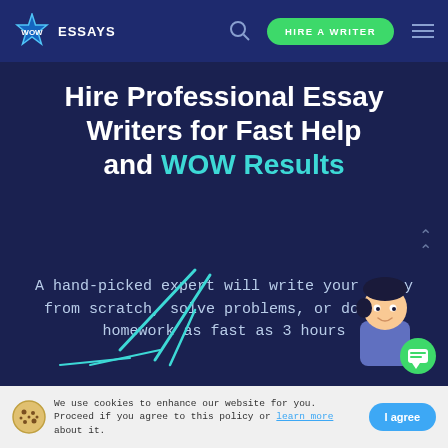[Figure (screenshot): WowEssays website screenshot showing navigation bar with logo, search icon, HIRE A WRITER button, and hamburger menu]
Hire Professional Essay Writers for Fast Help and WOW Results
A hand-picked expert will write your essay from scratch, solve problems, or do your homework as fast as 3 hours
[Figure (illustration): Decorative teal lines and an animated character (student with dark hair) with a green chat bubble icon in bottom right corner]
We use cookies to enhance our website for you. Proceed if you agree to this policy or learn more about it.